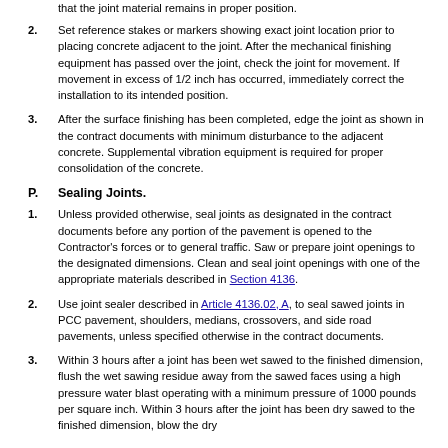that the joint material remains in proper position.
2. Set reference stakes or markers showing exact joint location prior to placing concrete adjacent to the joint. After the mechanical finishing equipment has passed over the joint, check the joint for movement. If movement in excess of 1/2 inch has occurred, immediately correct the installation to its intended position.
3. After the surface finishing has been completed, edge the joint as shown in the contract documents with minimum disturbance to the adjacent concrete. Supplemental vibration equipment is required for proper consolidation of the concrete.
P. Sealing Joints.
1. Unless provided otherwise, seal joints as designated in the contract documents before any portion of the pavement is opened to the Contractor's forces or to general traffic. Saw or prepare joint openings to the designated dimensions. Clean and seal joint openings with one of the appropriate materials described in Section 4136.
2. Use joint sealer described in Article 4136.02, A, to seal sawed joints in PCC pavement, shoulders, medians, crossovers, and side road pavements, unless specified otherwise in the contract documents.
3. Within 3 hours after a joint has been wet sawed to the finished dimension, flush the wet sawing residue away from the sawed faces using a high pressure water blast operating with a minimum pressure of 1000 pounds per square inch. Within 3 hours after the joint has been dry sawed to the finished dimension, blow the dry